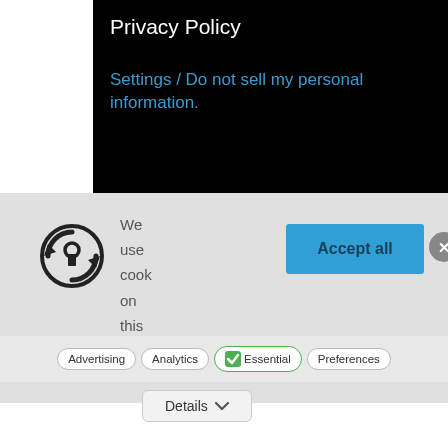Privacy Policy
Settings / Do not sell my personal information.
We use cook on this site
[Figure (illustration): Security/privacy icon showing a keyhole inside a circular arrow recycle-style symbol]
Accept all
Advertising
Analytics
Essential
Preferences
Details